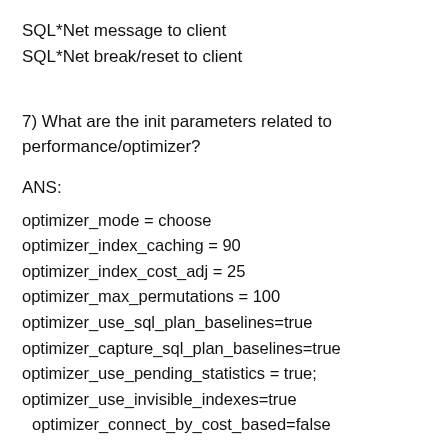SQL*Net message to client
SQL*Net break/reset to client
7) What are the init parameters related to performance/optimizer?
ANS:
optimizer_mode = choose
optimizer_index_caching = 90
optimizer_index_cost_adj = 25
optimizer_max_permutations = 100
optimizer_use_sql_plan_baselines=true
optimizer_capture_sql_plan_baselines=true
optimizer_use_pending_statistics = true;
optimizer_use_invisible_indexes=true
 optimizer_connect_by_cost_based=false